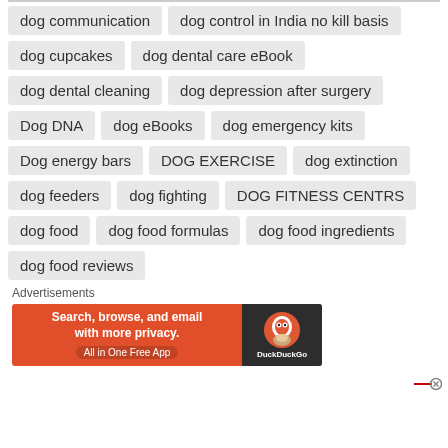dog communication
dog control in India no kill basis
dog cupcakes
dog dental care eBook
dog dental cleaning
dog depression after surgery
Dog DNA
dog eBooks
dog emergency kits
Dog energy bars
DOG EXERCISE
dog extinction
dog feeders
dog fighting
DOG FITNESS CENTRS
dog food
dog food formulas
dog food ingredients
dog food reviews
Advertisements
[Figure (screenshot): DuckDuckGo advertisement banner: orange background with text 'Search, browse, and email with more privacy. All in One Free App' and DuckDuckGo logo on dark background]